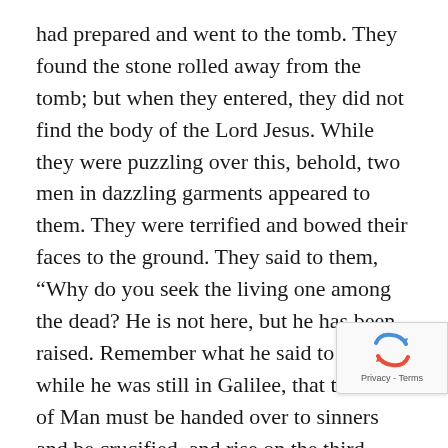had prepared and went to the tomb. They found the stone rolled away from the tomb; but when they entered, they did not find the body of the Lord Jesus. While they were puzzling over this, behold, two men in dazzling garments appeared to them. They were terrified and bowed their faces to the ground. They said to them, “Why do you seek the living one among the dead? He is not here, but he has been raised. Remember what he said to you while he was still in Galilee, that the Son of Man must be handed over to sinners and be crucified, and rise on the third day.” And they remembered his words. Then they returned from the tomb and announced all these things to the eleven and to all the others. The women were Mary Magdalene, Joanna, and Mary the mother of James; the others who accompanied them also told this to the apostles, but their story seemed like nonsense and they did not believe them. But Peter got up and ran to the tomb, bent down, and saw the burial cloths alone; then he went home amazed at what had happened.
[Figure (other): reCAPTCHA badge with recycling arrows icon and Privacy - Terms text]